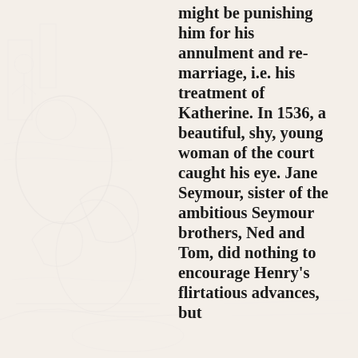[Figure (illustration): Faint background illustration showing a historical or medieval scene with figures, horses, and architectural elements, rendered in light gray/sepia tones.]
might be punishing him for his annulment and re-marriage, i.e. his treatment of Katherine. In 1536, a beautiful, shy, young woman of the court caught his eye. Jane Seymour, sister of the ambitious Seymour brothers, Ned and Tom, did nothing to encourage Henry's flirtatious advances, but